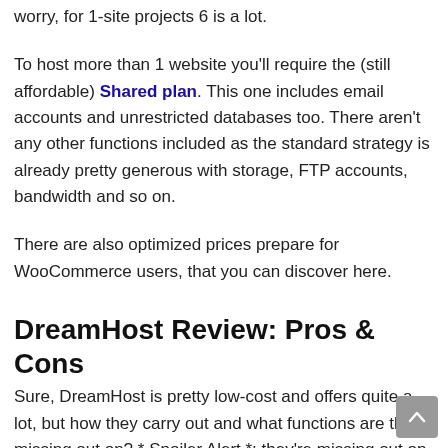worry, for 1-site projects 6 is a lot.
To host more than 1 website you'll require the (still affordable) Shared plan. This one includes email accounts and unrestricted databases too. There aren't any other functions included as the standard strategy is already pretty generous with storage, FTP accounts, bandwidth and so on.
There are also optimized prices prepare for WooCommerce users, that you can discover here.
DreamHost Review: Pros & Cons
Sure, DreamHost is pretty low-cost and offers quite a lot, but how they carry out and what functions are they missing out on? * Spoiler Alert *: they're missing out on a couple of advanced features.